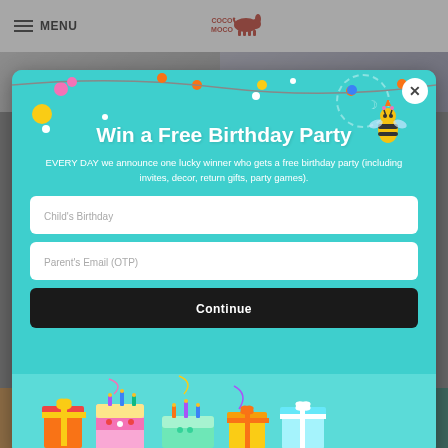MENU | CocoMoco (logo)
[Figure (screenshot): Website popup modal with teal background showing 'Win a Free Birthday Party' promotion. Includes two input fields (Child's Birthday, Parent's Email (OTP)) and a Continue button. Birthday cake and gift illustrations at the bottom of the modal. Close (X) button in top right corner. Background shows a grey e-commerce page with product images.]
Win a Free Birthday Party
EVERY DAY we announce one lucky winner who gets a free birthday party (including invites, decor, return gifts, party games).